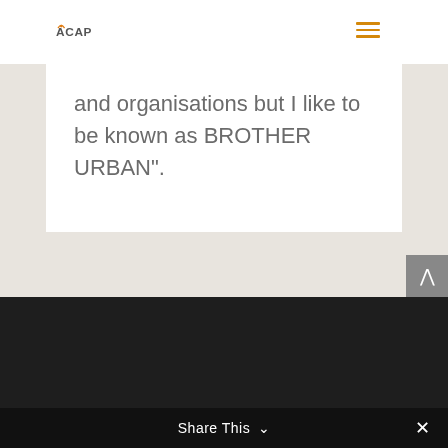ACAP
and organisations but I like to be known as BROTHER URBAN”.
Share This ⌃ ×